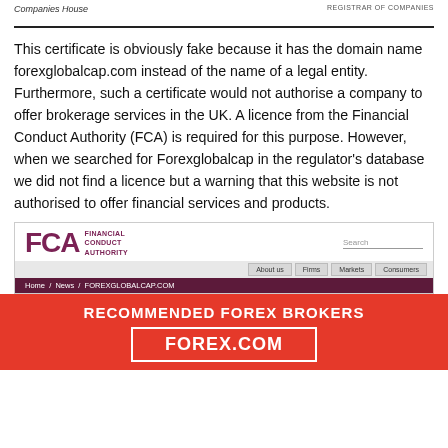Companies House | REGISTRAR OF COMPANIES
This certificate is obviously fake because it has the domain name forexglobalcap.com instead of the name of a legal entity. Furthermore, such a certificate would not authorise a company to offer brokerage services in the UK. A licence from the Financial Conduct Authority (FCA) is required for this purpose. However, when we searched for Forexglobalcap in the regulator's database we did not find a licence but a warning that this website is not authorised to offer financial services and products.
[Figure (screenshot): Screenshot of the FCA (Financial Conduct Authority) website showing navigation bar with About us, Firms, Markets, Consumers buttons, and a breadcrumb reading Home / News / FOREXGLOBALCAP.COM]
RECOMMENDED FOREX BROKERS
FOREX.COM